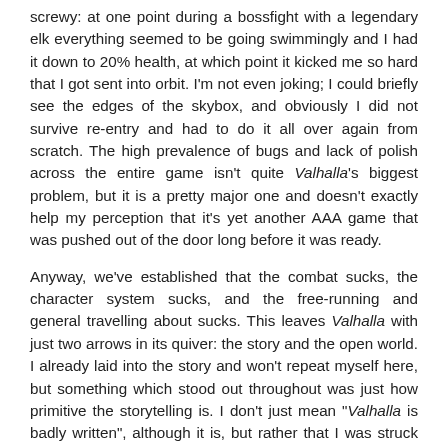screwy: at one point during a bossfight with a legendary elk everything seemed to be going swimmingly and I had it down to 20% health, at which point it kicked me so hard that I got sent into orbit. I'm not even joking; I could briefly see the edges of the skybox, and obviously I did not survive re-entry and had to do it all over again from scratch. The high prevalence of bugs and lack of polish across the entire game isn't quite Valhalla's biggest problem, but it is a pretty major one and doesn't exactly help my perception that it's yet another AAA game that was pushed out of the door long before it was ready.
Anyway, we've established that the combat sucks, the character system sucks, and the free-running and general travelling about sucks. This leaves Valhalla with just two arrows in its quiver: the story and the open world. I already laid into the story and won't repeat myself here, but something which stood out throughout was just how primitive the storytelling is. I don't just mean "Valhalla is badly written", although it is, but rather that I was struck by the similarities between Valhalla's cutscenes and the cutscenes from main scenario quests in Final Fantasy 14: A Realm Reborn. ARR was rushed and the cutscene tooling sucked so 99% of its cutscenes consisted of two people stood in one spot having a boring conversation. The vast majority of Valhalla's cutscenes also consist of two or three people stood in one spot having a boring conversation, likely for the same reasons: